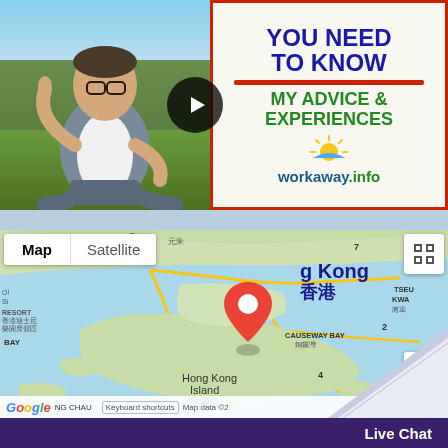[Figure (screenshot): Video thumbnail showing a young man sitting cross-legged outdoors, with text 'YOU NEED TO KNOW MY ADVICE & EXPERIENCES' and workaway.info branding, with a play button overlay]
[Figure (map): Google Maps screenshot showing Hong Kong (香港) area with a red location pin near Causeway Bay (銅鑼灣), showing Hong Kong Island (香港島), map and satellite toggle buttons, and Google branding footer]
Live Chat